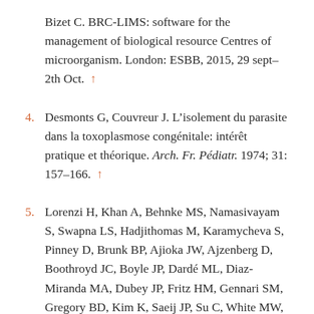Bizet C. BRC-LIMS: software for the management of biological resource Centres of microorganism. London: ESBB, 2015, 29 sept–2th Oct. ↑
4. Desmonts G, Couvreur J. L'isolement du parasite dans la toxoplasmose congénitale: intérêt pratique et théorique. Arch. Fr. Pédiatr. 1974; 31: 157–166. ↑
5. Lorenzi H, Khan A, Behnke MS, Namasivayam S, Swapna LS, Hadjithomas M, Karamycheva S, Pinney D, Brunk BP, Ajioka JW, Ajzenberg D, Boothroyd JC, Boyle JP, Dardé ML, Diaz-Miranda MA, Dubey JP, Fritz HM, Gennari SM, Gregory BD, Kim K, Saeij JP, Su C, White MW, Zhu XQ, Howe DK, Rosenthal BM, Grigg ME, Buchiarovi J, Li J, Kissinger JC, Roos DS